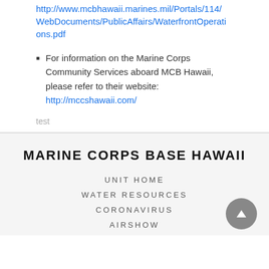http://www.mcbhawaii.marines.mil/Portals/114/WebDocuments/PublicAffairs/WaterfrontOperations.pdf
For information on the Marine Corps Community Services aboard MCB Hawaii, please refer to their website: http://mccshawaii.com/
test
MARINE CORPS BASE HAWAII
UNIT HOME
WATER RESOURCES
CORONAVIRUS
AIRSHOW